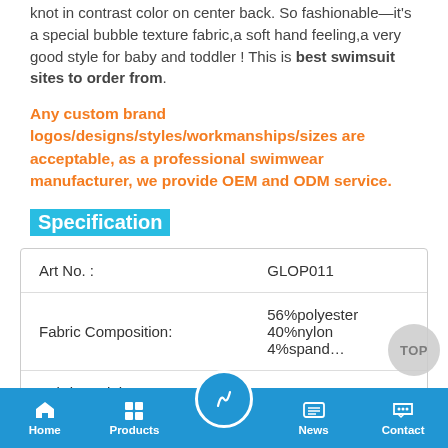knot in contrast color on center back. So fashionable—it's a special bubble texture fabric,a soft hand feeling,a very good style for baby and toddler ! This is best swimsuit sites to order from.
Any custom brand logos/designs/styles/workmanships/sizes are acceptable, as a professional swimwear manufacturer, we provide OEM and ODM service.
Specification
|  |  |
| --- | --- |
| Art No. : | GLOP011 |
| Fabric Composition: | 56%polyester 40%nylon 4%spandex |
| Fabric Weight: | 190-200gsm |
| Lining: | Full lining,100%polyester, 100gsm |
Home | Products | (center button) | News | Contact